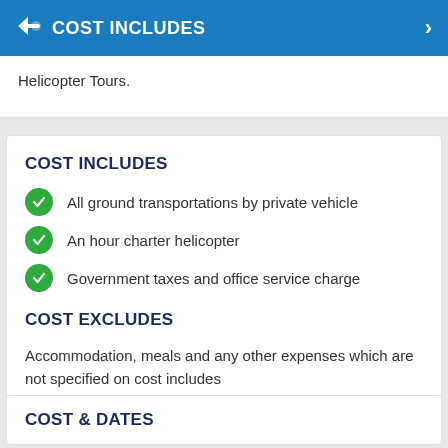COST INCLUDES
Helicopter Tours.
COST INCLUDES
All ground transportations by private vehicle
An hour charter helicopter
Government taxes and office service charge
COST EXCLUDES
Accommodation, meals and any other expenses which are not specified on cost includes
COST & DATES